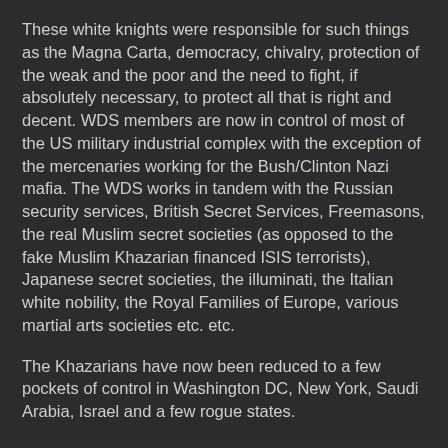These white knights were responsible for such things as the Magna Carta, democracy, chivalry, protection of the weak and the poor and the need to fight, if absolutely necessary, to protect all that is right and decent. WDS members are now in control of most of the US military industrial complex with the exception of the mercenaries working for the Bush/Clinton Nazi mafia. The WDS works in tandem with the Russian security services, British Secret Services, Freemasons, the real Muslim secret societies (as opposed to the fake Muslim Khazarian financed ISIS terrorists), Japanese secret societies, the illuminati, the Italian white nobility, the Royal Families of Europe, various martial arts societies etc. etc.
The Khazarians have now been reduced to a few pockets of control in Washington DC, New York, Saudi Arabia, Israel and a few rogue states.